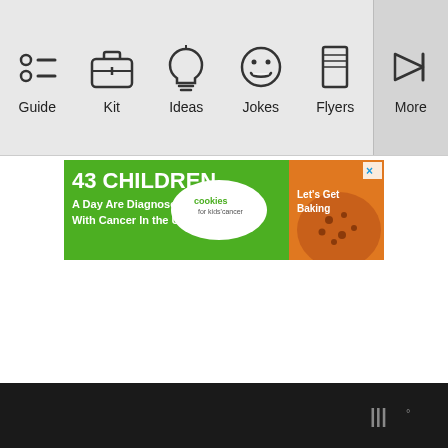[Figure (screenshot): Mobile app navigation bar with icons and labels: Guide (bullet list icon), Kit (suitcase icon), Ideas (lightbulb icon), Jokes (laughing face icon), Flyers (document/card icon), More (arrow icon). Darker separator before More.]
[Figure (infographic): Advertisement banner: green and orange background. Text '43 CHILDREN A Day Are Diagnosed With Cancer in the U.S.' in bold white on green/orange. Cookies for kids' cancer logo with cookie image. 'Let's Get Baking' text. Close X button top right.]
[Figure (logo): Footer with black background and small grey Yelp-style logo 'w°' in bottom right corner.]